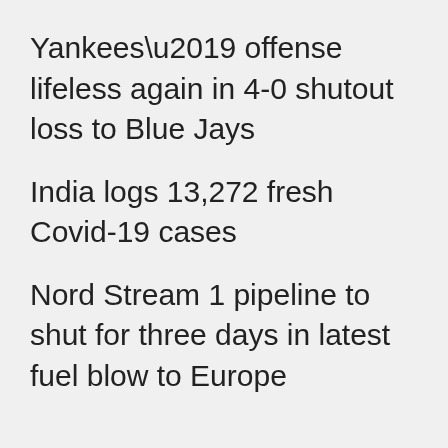Yankees’ offense lifeless again in 4-0 shutout loss to Blue Jays
India logs 13,272 fresh Covid-19 cases
Nord Stream 1 pipeline to shut for three days in latest fuel blow to Europe